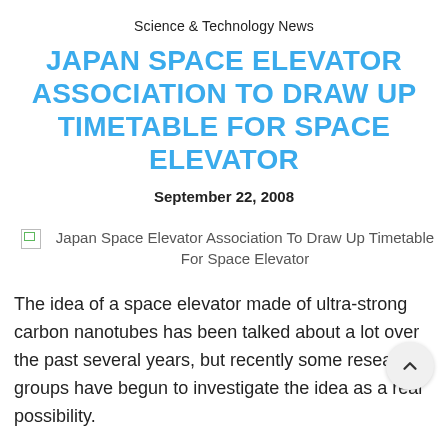Science & Technology News
JAPAN SPACE ELEVATOR ASSOCIATION TO DRAW UP TIMETABLE FOR SPACE ELEVATOR
September 22, 2008
[Figure (photo): Broken image placeholder with alt text: Japan Space Elevator Association To Draw Up Timetable For Space Elevator]
The idea of a space elevator made of ultra-strong carbon nanotubes has been talked about a lot over the past several years, but recently some research groups have begun to investigate the idea as a real possibility.